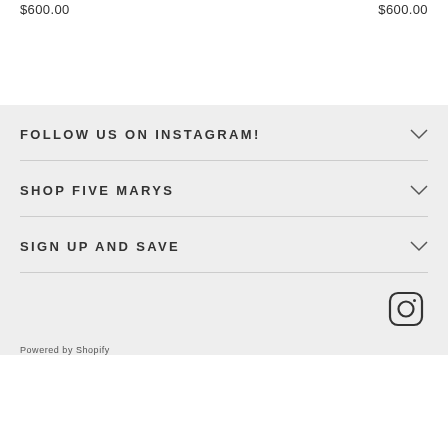$600.00
$600.00
FOLLOW US ON INSTAGRAM!
SHOP FIVE MARYS
SIGN UP AND SAVE
[Figure (logo): Instagram icon logo]
Powered by Shopify